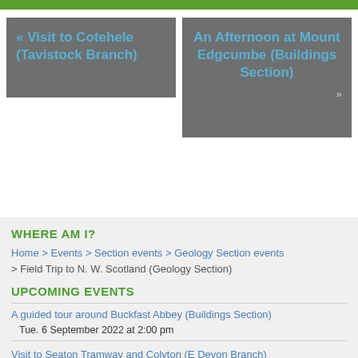[Figure (other): Green navigation bar at top of page]
« Visit to Cotehele (Tavistock Branch)
An Afternoon at Mount Edgcumbe (Buildings Section) »
WHERE AM I?
Home > Events > Section events > Geology Section events > Field Trip to N. W. Scotland (Geology Section)
UPCOMING EVENTS
A guided tour around Buckfast Abbey (Buildings Section) Tue. 6 September 2022 at 2:00 pm
Visit to Seaton Tramway and Colyton (E Devon Branch)